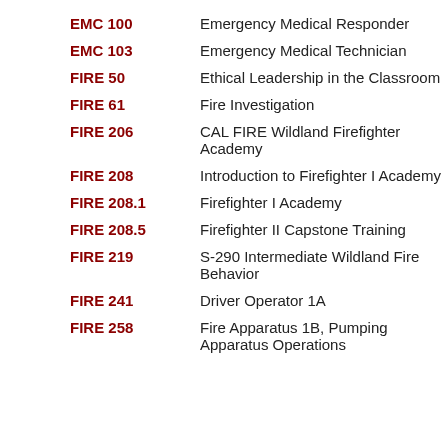EMC 100  Emergency Medical Responder
EMC 103  Emergency Medical Technician
FIRE 50  Ethical Leadership in the Classroom
FIRE 61  Fire Investigation
FIRE 206  CAL FIRE Wildland Firefighter Academy
FIRE 208  Introduction to Firefighter I Academy
FIRE 208.1  Firefighter I Academy
FIRE 208.5  Firefighter II Capstone Training
FIRE 219  S-290 Intermediate Wildland Fire Behavior
FIRE 241  Driver Operator 1A
FIRE 258  Fire Apparatus 1B, Pumping Apparatus Operations